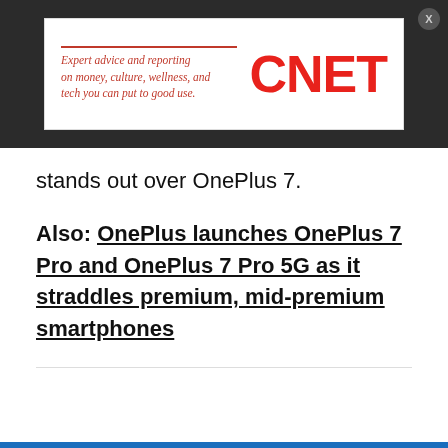[Figure (logo): CNET advertisement banner. Left side italic red text: 'Expert advice and reporting on money, culture, wellness, and tech you can put to good use.' Right side: large bold red CNET logo.]
stands out over OnePlus 7.
Also: OnePlus launches OnePlus 7 Pro and OnePlus 7 Pro 5G as it straddles premium, mid-premium smartphones